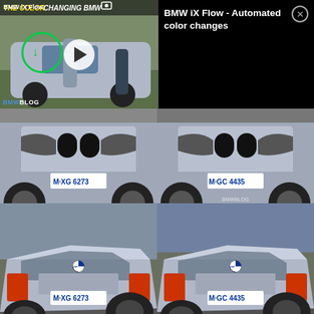[Figure (screenshot): Video thumbnail showing BMW iX Flow color-changing car with play button overlay, titled 'THE COLOR CHANGING BMW', with BMWBLOG watermark. Beside it a black panel reads 'BMW iX Flow - Automated color changes' with a close X button.]
[Figure (photo): Grid of four BMW car photos: top-left front view of silver BMW with plate M-XG 6273, top-right front view of silver BMW with plate M-GC 4435, bottom-left rear three-quarter view of silver BMW with plate M-XG 6273, bottom-right rear three-quarter view of silver BMW with plate M-GC 4435.]
Based on our driving experience, the 3 GT delivers a softer ride and handling, and while we have not had the opportunity yet to test drive the 4 Series Gran